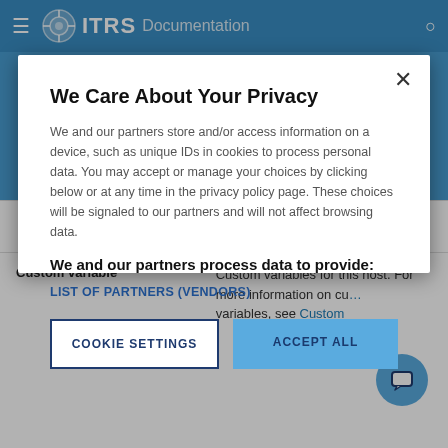ITRS Documentation
We Care About Your Privacy
We and our partners store and/or access information on a device, such as unique IDs in cookies to process personal data. You may accept or manage your choices by clicking below or at any time in the privacy policy page. These choices will be signaled to our partners and will not affect browsing data.
We and our partners process data to provide:
LIST OF PARTNERS (VENDORS)
COOKIE SETTINGS
ACCEPT ALL
|  |  |
| --- | --- |
|  | map if you want to draw your own map. |
| Custom variable | Custom variables for this host. For more information on custom variables, see Custom |
[Figure (screenshot): Chat support button icon (circular blue button with speech bubble icon)]